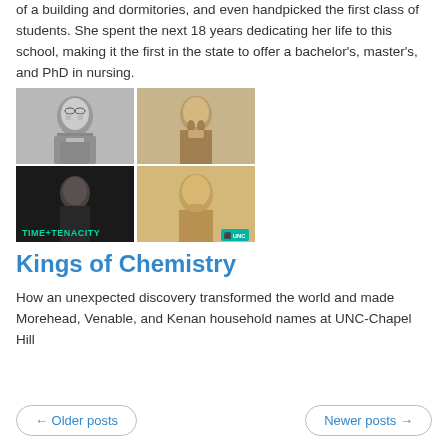of a building and dormitories, and even handpicked the first class of students. She spent the next 18 years dedicating her life to this school, making it the first in the state to offer a bachelor's, master's, and PhD in nursing.
[Figure (photo): A 2x2 grid of four historical black-and-white/sepia portrait photographs of men, with 'TIME+TENACITY' text overlay on bottom-left image and a UNC logo badge on bottom-right image.]
Kings of Chemistry
How an unexpected discovery transformed the world and made Morehead, Venable, and Kenan household names at UNC-Chapel Hill
← Older posts    Newer posts →